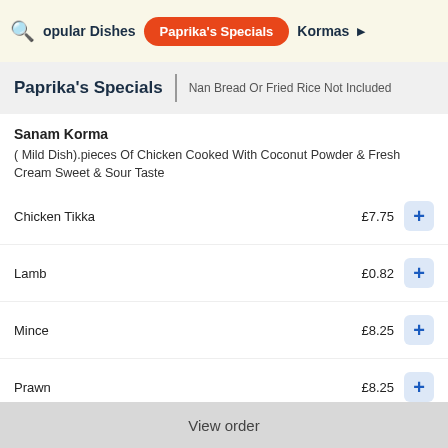🔍 opular Dishes | Paprika's Specials | Kormas ▶
Paprika's Specials | Nan Bread Or Fried Rice Not Included
Sanam Korma
( Mild Dish).pieces Of Chicken Cooked With Coconut Powder & Fresh Cream Sweet & Sour Taste
Chicken Tikka £7.75
Lamb £0.82
Mince £8.25
Prawn £8.25
View order